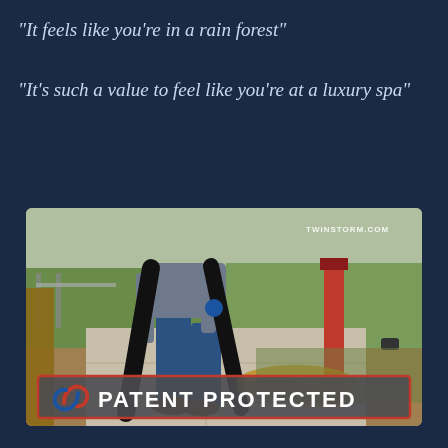"It feels like you're in a rain forest"
"It's such a value to feel like you're at a luxury spa"
[Figure (photo): Person using a dual-hose leaf blower on a sidewalk near grass, with a red post in the background. TWINSTORM.COM watermark in top right. 'PATENT PROTECTED' banner with logo at bottom.]